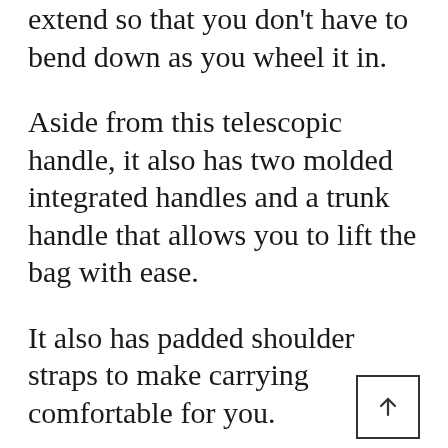extend so that you don't have to bend down as you wheel it in.
Aside from this telescopic handle, it also has two molded integrated handles and a trunk handle that allows you to lift the bag with ease.
It also has padded shoulder straps to make carrying comfortable for you.